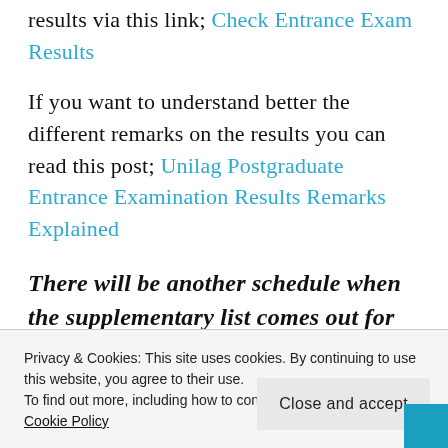results via this link; Check Entrance Exam Results
If you want to understand better the different remarks on the results you can read this post; Unilag Postgraduate Entrance Examination Results Remarks Explained
There will be another schedule when the supplementary list comes out for
Privacy & Cookies: This site uses cookies. By continuing to use this website, you agree to their use.
To find out more, including how to control cookies, see here: Cookie Policy